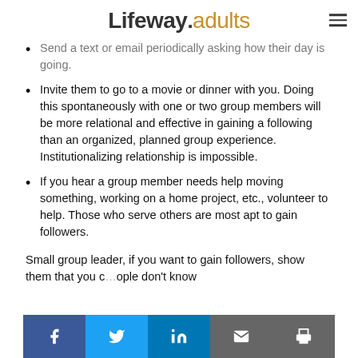Lifeway.adults
Send a text or email periodically asking how their day is going.
Invite them to go to a movie or dinner with you. Doing this spontaneously with one or two group members will be more relational and effective in gaining a following than an organized, planned group experience. Institutionalizing relationship is impossible.
If you hear a group member needs help moving something, working on a home project, etc., volunteer to help. Those who serve others are most apt to gain followers.
Small group leader, if you want to gain followers, show them that you c…ople don't know